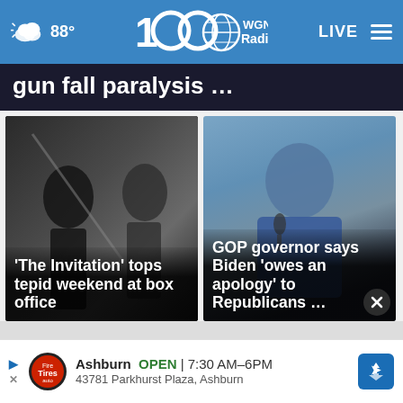WGN Radio 100 — 88° LIVE
gun fall paralysis …
[Figure (photo): Dark cinematic scene with silhouettes of people, movie still]
'The Invitation' tops tepid weekend at box office
[Figure (photo): Man in blue jacket speaking at microphone, GOP governor]
GOP governor says Biden 'owes an apology' to Republicans …
Ashburn  OPEN  7:30 AM–6PM  43781 Parkhurst Plaza, Ashburn